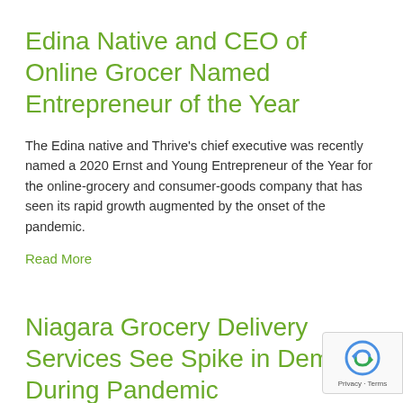Edina Native and CEO of Online Grocer Named Entrepreneur of the Year
The Edina native and Thrive's chief executive was recently named a 2020 Ernst and Young Entrepreneur of the Year for the online-grocery and consumer-goods company that has seen its rapid growth augmented by the onset of the pandemic.
Read More
Niagara Grocery Delivery Services See Spike in Demand During Pandemic